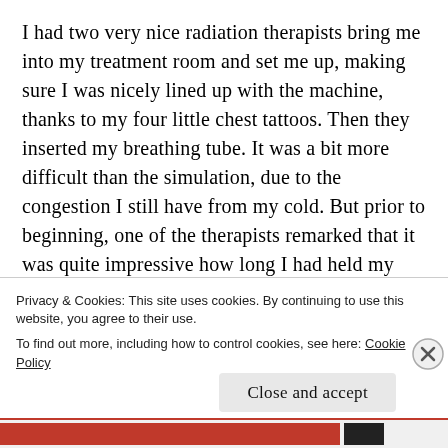I had two very nice radiation therapists bring me into my treatment room and set me up, making sure I was nicely lined up with the machine, thanks to my four little chest tattoos. Then they inserted my breathing tube. It was a bit more difficult than the simulation, due to the congestion I still have from my cold. But prior to beginning, one of the therapists remarked that it was quite impressive how long I had held my breath in the sim, so I knew I had to live up to my reputation and not screw it up. And I didn't. I sailed right through it, and then it was
Privacy & Cookies: This site uses cookies. By continuing to use this website, you agree to their use.
To find out more, including how to control cookies, see here: Cookie Policy
Close and accept